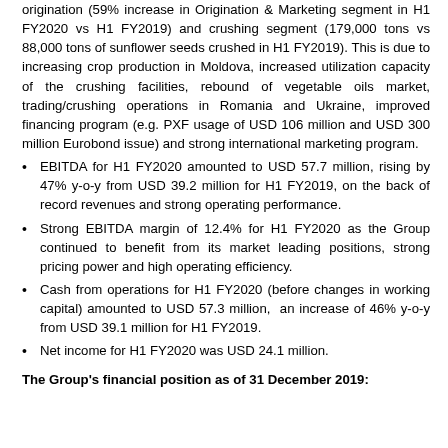origination (59% increase in Origination & Marketing segment in H1 FY2020 vs H1 FY2019) and crushing segment (179,000 tons vs 88,000 tons of sunflower seeds crushed in H1 FY2019). This is due to increasing crop production in Moldova, increased utilization capacity of the crushing facilities, rebound of vegetable oils market, trading/crushing operations in Romania and Ukraine, improved financing program (e.g. PXF usage of USD 106 million and USD 300 million Eurobond issue) and strong international marketing program.
EBITDA for H1 FY2020 amounted to USD 57.7 million, rising by 47% y-o-y from USD 39.2 million for H1 FY2019, on the back of record revenues and strong operating performance.
Strong EBITDA margin of 12.4% for H1 FY2020 as the Group continued to benefit from its market leading positions, strong pricing power and high operating efficiency.
Cash from operations for H1 FY2020 (before changes in working capital) amounted to USD 57.3 million,  an increase of 46% y-o-y from USD 39.1 million for H1 FY2019.
Net income for H1 FY2020 was USD 24.1 million.
The Group's financial position as of 31 December 2019: